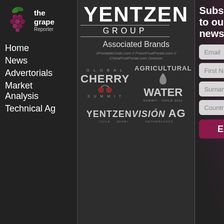[Figure (logo): The Grape Reporter logo — grape cluster icon with 'the grape Reporter' text]
Home
News
Advertorials
Market Analysis
Technical Ag
[Figure (logo): Yentzen Group logo — large bold YENTZEN text with GROUP below]
Associated Brands
//PortaldeUvds.com // FreshFruitPortal.com // ChinaFruitPortal.com Greecer
[Figure (logo): Global Cherry Summit logo]
[Figure (logo): Agricultural Water Summit Chile 2021 logo]
[Figure (logo): Yentzen Vision Ag logo]
Subscribe to our newsletter
Email
First Name
Surname
Country
Enviar